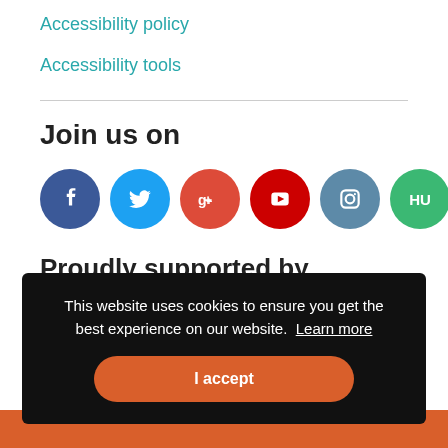Accessibility policy
Accessibility tools
Join us on
[Figure (infographic): Six social media circle icons: Facebook (dark blue), Twitter (light blue), Google+ (orange-red), YouTube (red), Instagram (steel blue), HU (green)]
Proudly supported by
This website uses cookies to ensure you get the best experience on our website. Learn more
I accept